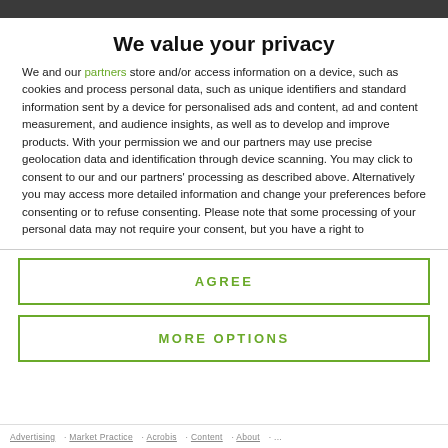We value your privacy
We and our partners store and/or access information on a device, such as cookies and process personal data, such as unique identifiers and standard information sent by a device for personalised ads and content, ad and content measurement, and audience insights, as well as to develop and improve products. With your permission we and our partners may use precise geolocation data and identification through device scanning. You may click to consent to our and our partners' processing as described above. Alternatively you may access more detailed information and change your preferences before consenting or to refuse consenting. Please note that some processing of your personal data may not require your consent, but you have a right to
AGREE
MORE OPTIONS
Advertising · Market Practice · Acrobis · Content · About · ...